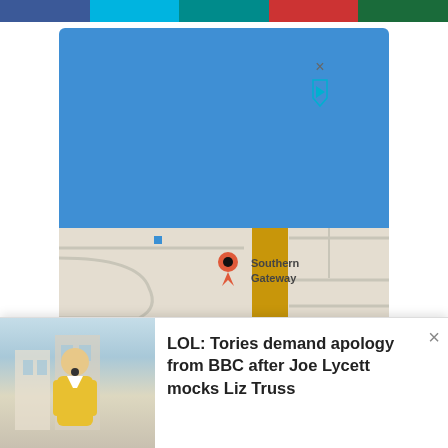[Figure (map): Navigation bar with colored category buttons at top]
[Figure (map): Google Maps embedded widget showing a location pin at 'Southern Gateway' with blue satellite view on top, street map on bottom, info and directions buttons]
Rum is finally getting the moment in the sunshine it deserves. Once the reserve of popular (read: mostly
[Figure (photo): Notification popup showing a person in yellow shirt with headline: LOL: Tories demand apology from BBC after Joe Lycett mocks Liz Truss]